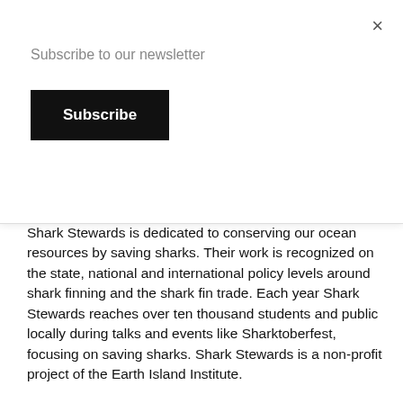Subscribe to our newsletter
Subscribe
×
Shark Stewards is dedicated to conserving our ocean resources by saving sharks. Their work is recognized on the state, national and international policy levels around shark finning and the shark fin trade. Each year Shark Stewards reaches over ten thousand students and public locally during talks and events like Sharktoberfest, focusing on saving sharks. Shark Stewards is a non-profit project of the Earth Island Institute.
The New Zealand Shark Alliance is made up of Greenpeace, Forest & Bird, WWF, ECO, Sea Shepard Our Seas Our Future, White Shark